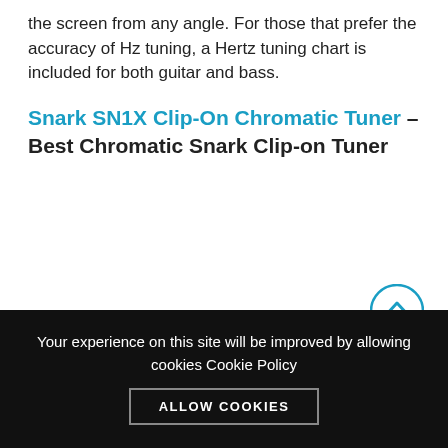the screen from any angle. For those that prefer the accuracy of Hz tuning, a Hertz tuning chart is included for both guitar and bass.
Snark SN1X Clip-On Chromatic Tuner – Best Chromatic Snark Clip-on Tuner
Your experience on this site will be improved by allowing cookies Cookie Policy
ALLOW COOKIES